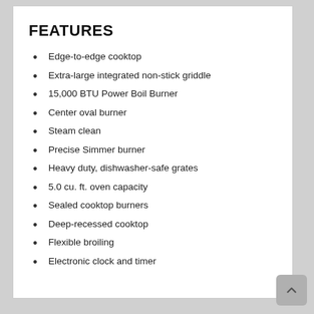FEATURES
Edge-to-edge cooktop
Extra-large integrated non-stick griddle
15,000 BTU Power Boil Burner
Center oval burner
Steam clean
Precise Simmer burner
Heavy duty, dishwasher-safe grates
5.0 cu. ft. oven capacity
Sealed cooktop burners
Deep-recessed cooktop
Flexible broiling
Electronic clock and timer